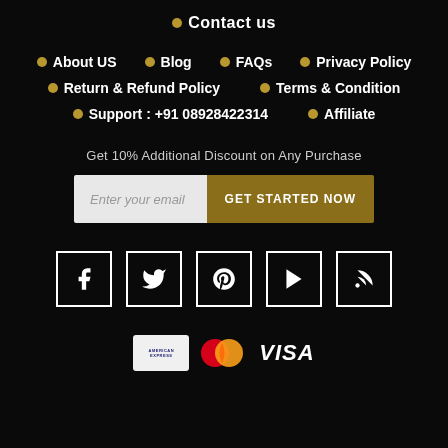Contact us
About US
Blog
FAQs
Privacy Policy
Return & Refund Policy
Terms & Condition
Support : +91 08928422314
Affiliate
Get 10% Additional Discount on Any Purchase
[Figure (screenshot): Email signup bar with 'Enter your email' input and 'GET STARTED NOW' golden button]
[Figure (infographic): Social media icons row: Facebook, Twitter, Pinterest, YouTube, RSS feed - all in white outlined squares]
[Figure (infographic): Payment method logos: American Express, MasterCard, VISA]